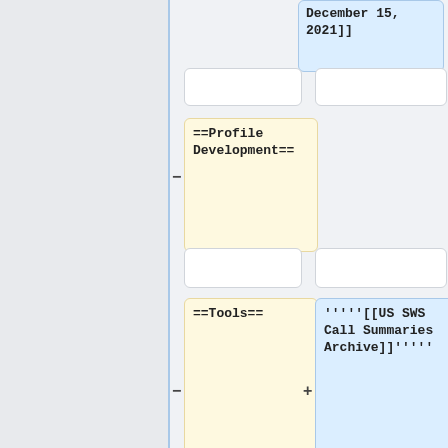December 15, 2021]]
==Profile Development==
==Tools==
'''''[[US SWS Call Summaries Archive]]'''''